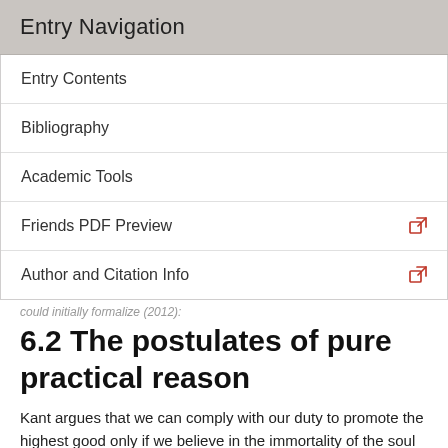Entry Navigation
Entry Contents
Bibliography
Academic Tools
Friends PDF Preview
Author and Citation Info
could initially formalize (2012):
6.2 The postulates of pure practical reason
Kant argues that we can comply with our duty to promote the highest good only if we believe in the immortality of the soul and the existence of God. This is because to comply with that duty we must believe that the highest good is possible, and yet to believe that the highest good is possible we must believe that the soul is immortal and that God exists, according to Kant.[26]